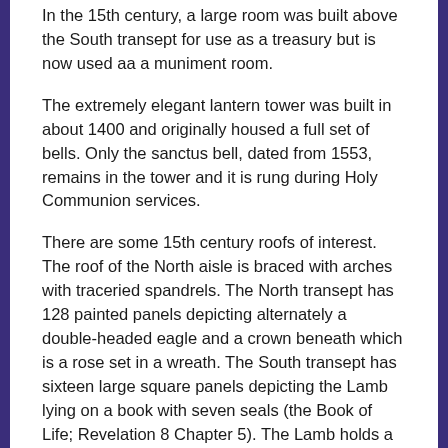In the 15th century, a large room was built above the South transept for use as a treasury but is now used aa a muniment room.
The extremely elegant lantern tower was built in about 1400 and originally housed a full set of bells. Only the sanctus bell, dated from 1553, remains in the tower and it is rung during Holy Communion services.
There are some 15th century roofs of interest. The roof of the North aisle is braced with arches with traceried spandrels. The North transept has 128 painted panels depicting alternately a double-headed eagle and a crown beneath which is a rose set in a wreath. The South transept has sixteen large square panels depicting the Lamb lying on a book with seven seals (the Book of Life; Revelation 8 Chapter 5). The Lamb holds a cross-staff from which flies a red cross pennant and around the Lamb's head is a golden nimbus. The Lamb and the Book are surrounded by a